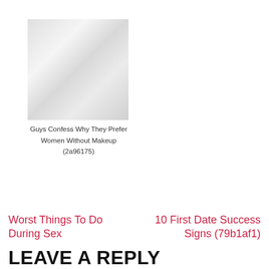[Figure (photo): Placeholder image with grey swirling gradient pattern]
Guys Confess Why They Prefer Women Without Makeup (2a96175)
Worst Things To Do During Sex
10 First Date Success Signs (79b1af1)
LEAVE A REPLY